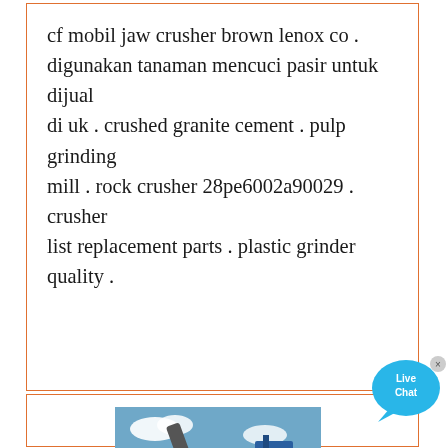cf mobil jaw crusher brown lenox co . digunakan tanaman mencuci pasir untuk dijual di uk . crushed granite cement . pulp grinding mill . rock crusher 28pe6002a90029 . crusher list replacement parts . plastic grinder quality .
[Figure (photo): Industrial mining crusher machine (yellow) with workers on site, blue sky in background]
Major Research Groupings | Institute Of Infectious Disease ...